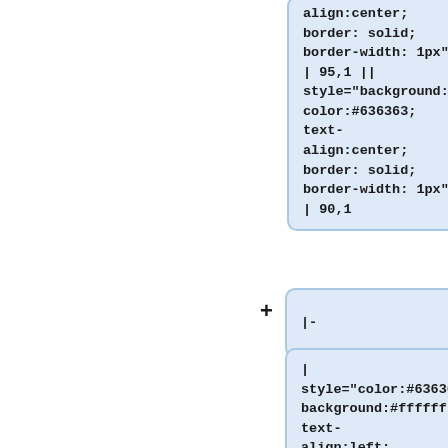align:center; border: solid; border-width: 1px" | 95,1 || style="background:#ffffff; color:#636363; text-align:center; border: solid; border-width: 1px" | 90,1
|-
| style="color:#636363; background:#ffffff; text-align:left; border: solid; border-width: 1px" | Actividades sanitarias || style="background:#ffffff; color:#636363; text-align:center; border: solid; border-width: 1px" | 100,0 || style="background:#ffffff; color:#636363; text-align:center; border: solid; border-width: 1px" | 100,0
|-